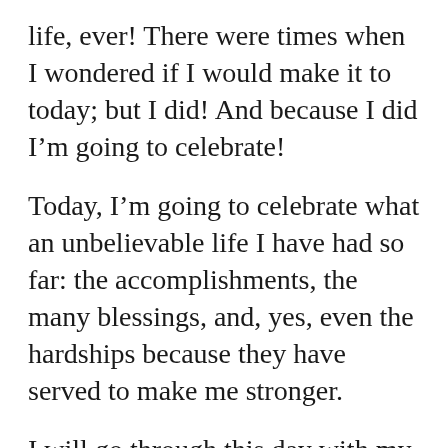life, ever! There were times when I wondered if I would make it to today; but I did! And because I did I'm going to celebrate!
Today, I'm going to celebrate what an unbelievable life I have had so far: the accomplishments, the many blessings, and, yes, even the hardships because they have served to make me stronger.
I will go through this day with my head held high, and a happy heart. I will marvel at God's seemingly simple gifts: the morning dew, the sun, the clouds, the trees, the flowers, the birds. Today, none of these miraculous